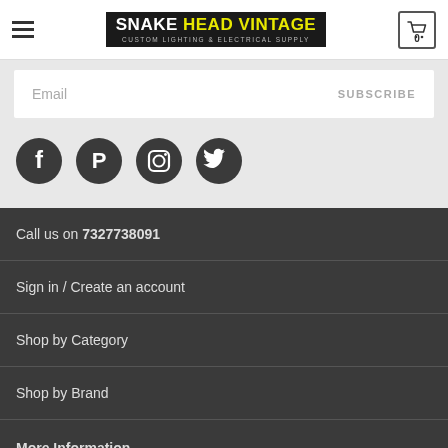[Figure (logo): Snake Head Vintage logo — Custom Lighting & Electrical Supply]
Email
SUBSCRIBE
[Figure (illustration): Social media icons: Facebook, Pinterest, Instagram, Twitter]
Call us on 7327738091
Sign in / Create an account
Shop by Category
Shop by Brand
More Information